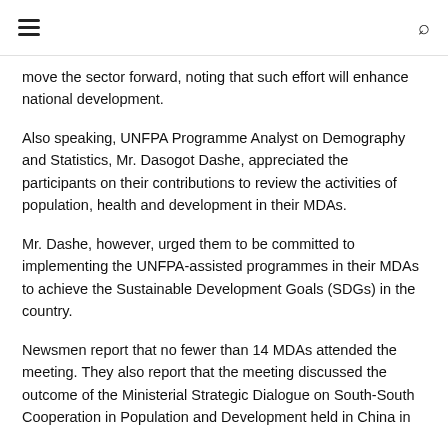≡  🔍
move the sector forward, noting that such effort will enhance national development.
Also speaking, UNFPA Programme Analyst on Demography and Statistics, Mr. Dasogot Dashe, appreciated the participants on their contributions to review the activities of population, health and development in their MDAs.
Mr. Dashe, however, urged them to be committed to implementing the UNFPA-assisted programmes in their MDAs to achieve the Sustainable Development Goals (SDGs) in the country.
Newsmen report that no fewer than 14 MDAs attended the meeting. They also report that the meeting discussed the outcome of the Ministerial Strategic Dialogue on South-South Cooperation in Population and Development held in China in